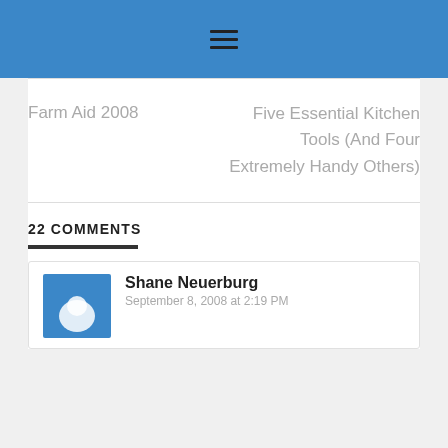≡
Farm Aid 2008
Five Essential Kitchen Tools (And Four Extremely Handy Others)
22 COMMENTS
Shane Neuerburg
September 8, 2008 at 2:19 PM